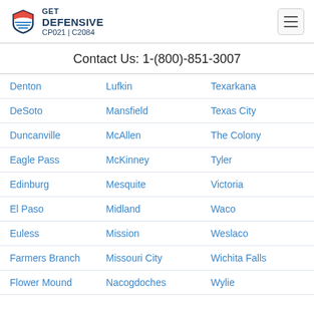GET DEFENSIVE CP021 | C2084
Contact Us: 1-(800)-851-3007
| Col1 | Col2 | Col3 |
| --- | --- | --- |
| Denton | Lufkin | Texarkana |
| DeSoto | Mansfield | Texas City |
| Duncanville | McAllen | The Colony |
| Eagle Pass | McKinney | Tyler |
| Edinburg | Mesquite | Victoria |
| El Paso | Midland | Waco |
| Euless | Mission | Weslaco |
| Farmers Branch | Missouri City | Wichita Falls |
| Flower Mound | Nacogdoches | Wylie |